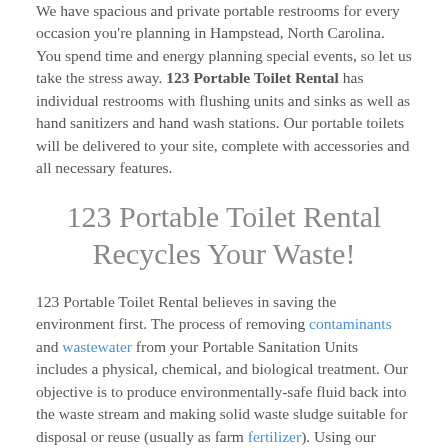We have spacious and private portable restrooms for every occasion you're planning in Hampstead, North Carolina. You spend time and energy planning special events, so let us take the stress away. 123 Portable Toilet Rental has individual restrooms with flushing units and sinks as well as hand sanitizers and hand wash stations. Our portable toilets will be delivered to your site, complete with accessories and all necessary features.
123 Portable Toilet Rental Recycles Your Waste!
123 Portable Toilet Rental believes in saving the environment first. The process of removing contaminants and wastewater from your Portable Sanitation Units includes a physical, chemical, and biological treatment. Our objective is to produce environmentally-safe fluid back into the waste stream and making solid waste sludge suitable for disposal or reuse (usually as farm fertilizer). Using our advanced technology it is now possible to re-use sewage effluent for drinking water by taking the waste to the proper facility. With a population that is forever growing, 123 Portable Toilet Rental is looking for a solution to one day bottle the same water that is removed for all of their Portable Sanitation Units